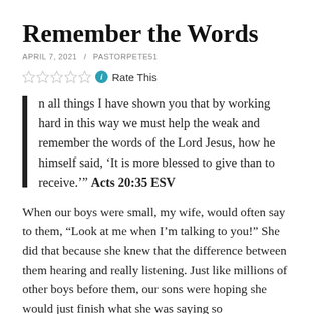Remember the Words
APRIL 7, 2021 / PASTORPETE51
Rate This
In all things I have shown you that by working hard in this way we must help the weak and remember the words of the Lord Jesus, how he himself said, ‘It is more blessed to give than to receive.’” Acts 20:35 ESV
When our boys were small, my wife, would often say to them, “Look at me when I’m talking to you!” She did that because she knew that the difference between them hearing and really listening. Just like millions of other boys before them, our sons were hoping she would just finish what she was saying so